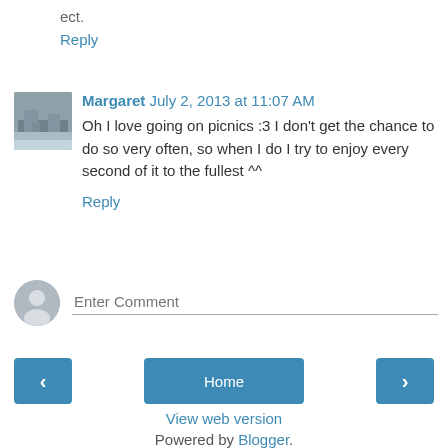ect.
Reply
Margaret July 2, 2013 at 11:07 AM
Oh I love going on picnics :3 I don't get the chance to do so very often, so when I do I try to enjoy every second of it to the fullest ^^
Reply
Enter Comment
Home
View web version
Powered by Blogger.